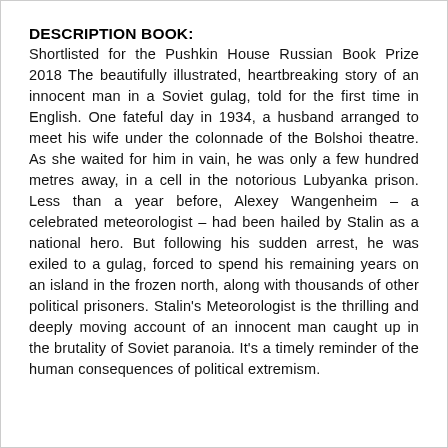DESCRIPTION BOOK:
Shortlisted for the Pushkin House Russian Book Prize 2018 The beautifully illustrated, heartbreaking story of an innocent man in a Soviet gulag, told for the first time in English. One fateful day in 1934, a husband arranged to meet his wife under the colonnade of the Bolshoi theatre. As she waited for him in vain, he was only a few hundred metres away, in a cell in the notorious Lubyanka prison. Less than a year before, Alexey Wangenheim – a celebrated meteorologist – had been hailed by Stalin as a national hero. But following his sudden arrest, he was exiled to a gulag, forced to spend his remaining years on an island in the frozen north, along with thousands of other political prisoners. Stalin's Meteorologist is the thrilling and deeply moving account of an innocent man caught up in the brutality of Soviet paranoia. It's a timely reminder of the human consequences of political extremism.